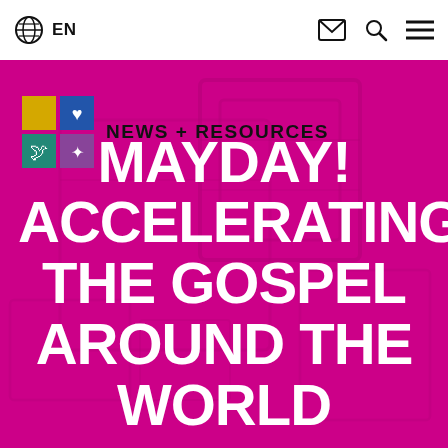EN
[Figure (screenshot): Website navigation bar with globe/language icon, EN label, envelope icon, search icon, and hamburger menu icon]
[Figure (logo): 2x2 grid icon logo with colored quadrants: yellow (top-left), blue with heart (top-right), teal with bird (bottom-left), purple with figure (bottom-right)]
NEWS + RESOURCES
MAYDAY! ACCELERATING THE GOSPEL AROUND THE WORLD